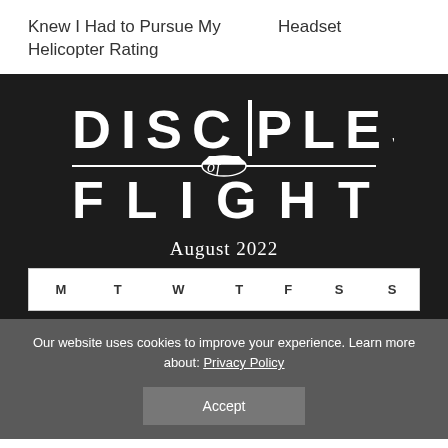Knew I Had to Pursue My Helicopter Rating    Headset
[Figure (logo): Disciples of Flight logo — white text on dark background showing airplane silhouette]
August 2022
| M | T | W | T | F | S | S |
| --- | --- | --- | --- | --- | --- | --- |
Our website uses cookies to improve your experience. Learn more about: Privacy Policy
Accept